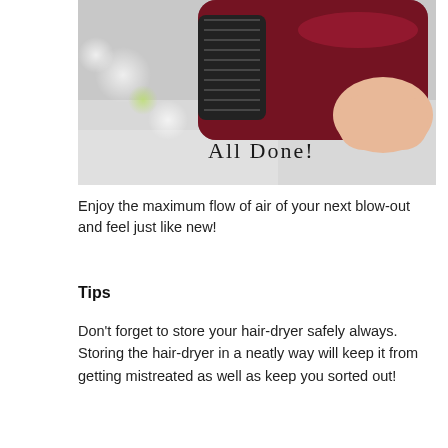[Figure (photo): A person holding a dark red/maroon hair dryer, photographed from below showing the back vent. Bokeh lights visible in the background. Handwritten text 'All Done!' appears over the image.]
Enjoy the maximum flow of air of your next blow-out and feel just like new!
Tips
Don't forget to store your hair-dryer safely always. Storing the hair-dryer in a neatly way will keep it from getting mistreated as well as keep you sorted out!